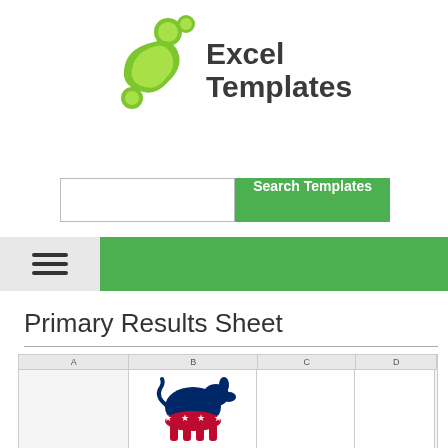[Figure (logo): Excel Templates logo with green 3D figure and bold dark text 'Excel Templates']
[Figure (screenshot): Search bar with white input field and green 'Search Templates' button]
[Figure (screenshot): Green navigation bar with hamburger menu icon on grey left panel]
Primary Results Sheet
[Figure (screenshot): Screenshot of Excel spreadsheet showing Democratic donkey logo and columns: State, Hilary Clinton, Bernie Sanders with rows for Alabama, Alaska, Arizona]